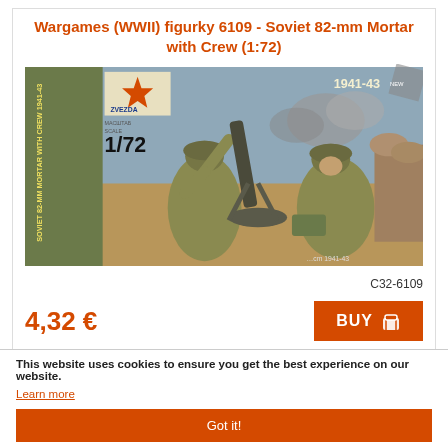Wargames (WWII) figurky 6109 - Soviet 82-mm Mortar with Crew (1:72)
[Figure (photo): Product box art for Zvezda 1/72 scale Soviet 82-mm Mortar with Crew (1941-43), showing two Soviet soldiers operating a mortar in a battlefield setting.]
C32-6109
4,32 €
BUY
This website uses cookies to ensure you get the best experience on our website.
Learn more
Got it!